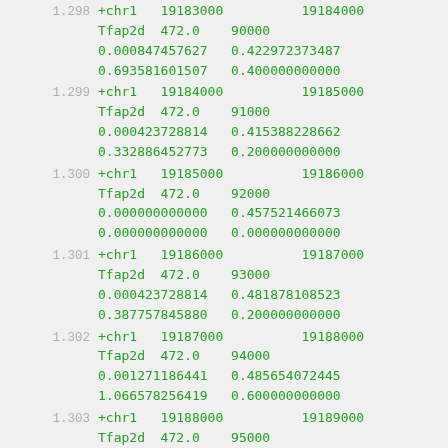1.298  +chr1  19183000  19184000  Tfap2d  472.0  90000  0.000847457627  0.422972373487  0.693581601507  0.400000000000
1.299  +chr1  19184000  19185000  Tfap2d  472.0  91000  0.000423728814  0.415388228662  0.332886452773  0.200000000000
1.300  +chr1  19185000  19186000  Tfap2d  472.0  92000  0.000000000000  0.457521466073  0.000000000000  0.000000000000
1.301  +chr1  19186000  19187000  Tfap2d  472.0  93000  0.000423728814  0.481878108523  0.387757845880  0.200000000000
1.302  +chr1  19187000  19188000  Tfap2d  472.0  94000  0.001271186441  0.485654072445  1.066578256419  0.600000000000
1.303  +chr1  19188000  19189000  Tfap2d  472.0  95000  0.001694915254  0.470520014646  1.363708752551  0.800000000000
1.304  +chr1  19189000  19190000  Tfap2d  472.0  96000  0.001694915254  0.451356425790  1.325294422259  0.800000000000
1.305  +chr1  19190000  19191000  Tfap2d  472.0  97000  0.001694915254  0.458000704387  1.373662831110  0.800000000000